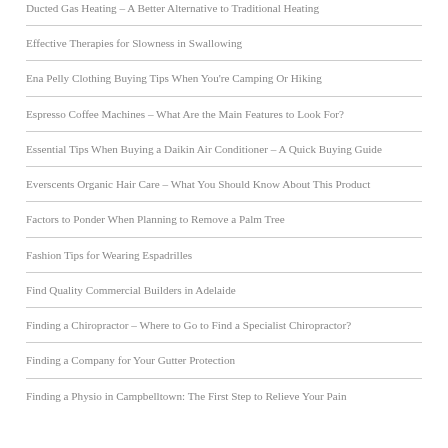Ducted Gas Heating – A Better Alternative to Traditional Heating
Effective Therapies for Slowness in Swallowing
Ena Pelly Clothing Buying Tips When You're Camping Or Hiking
Espresso Coffee Machines – What Are the Main Features to Look For?
Essential Tips When Buying a Daikin Air Conditioner – A Quick Buying Guide
Everscents Organic Hair Care – What You Should Know About This Product
Factors to Ponder When Planning to Remove a Palm Tree
Fashion Tips for Wearing Espadrilles
Find Quality Commercial Builders in Adelaide
Finding a Chiropractor – Where to Go to Find a Specialist Chiropractor?
Finding a Company for Your Gutter Protection
Finding a Physio in Campbelltown: The First Step to Relieve Your Pain